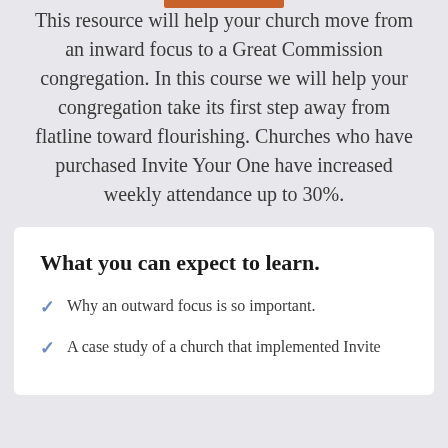This resource will help your church move from an inward focus to a Great Commission congregation. In this course we will help your congregation take its first step away from flatline toward flourishing. Churches who have purchased Invite Your One have increased weekly attendance up to 30%.
What you can expect to learn.
Why an outward focus is so important.
A case study of a church that implemented Invite